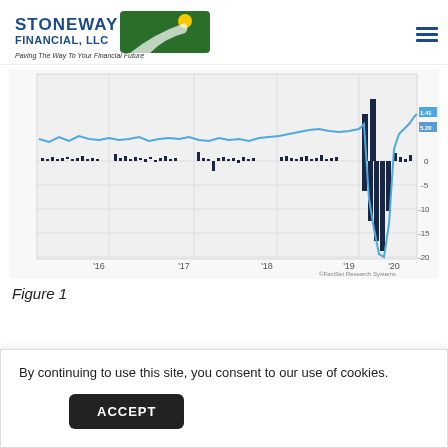[Figure (logo): Stoneway Financial LLC logo with green path/sun graphic and tagline 'Paving The Way To Your Financial Future']
[Figure (bar-chart): Combined bar and line chart showing data from 2016 to 2020. Bars represent quarterly/monthly values mostly near 0, with a dramatic drop to about -20 around early 2020. A blue line hovers around 5-7 for most of the period, then drops sharply to near -20 in early 2020 before recovering. Y-axis shows values: 0, -5, -10, -15, -20. X-axis labels: '16, '17, '18, '19, '20. Labels 1.41 and 5.20 appear at the right edge. FactSet Research Systems watermark.]
Figure 1
By continuing to use this site, you consent to our use of cookies.
I'